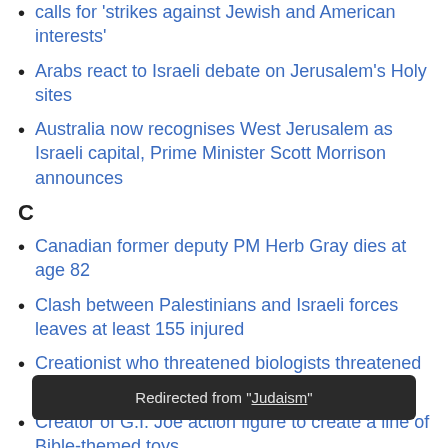calls for 'strikes against Jewish and American interests'
Arabs react to Israeli debate on Jerusalem's Holy sites
Australia now recognises West Jerusalem as Israeli capital, Prime Minister Scott Morrison announces
C
Canadian former deputy PM Herb Gray dies at age 82
Clash between Palestinians and Israeli forces leaves at least 155 injured
Creationist who threatened biologists threatened others at university
Creator of G.I. Joe action figure to create a line of Bible-themed toys
G
Germany threatens to walk out of UN General Assembly
Redirected from "Judaism"